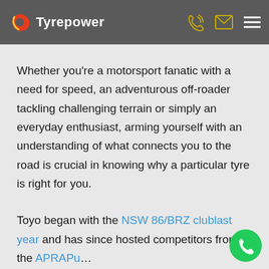Tyrepower
Whether you're a motorsport fanatic with a need for speed, an adventurous off-roader tackling challenging terrain or simply an everyday enthusiast, arming yourself with an understanding of what connects you to the road is crucial in knowing why a particular tyre is right for you.
Toyo began with the NSW 86/BRZ club last year and has since hosted competitors from the APRAPu… Challenge, giving Toyo in the...